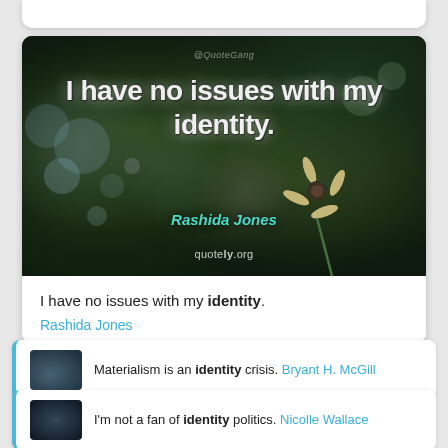[Figure (screenshot): Quote image card with dark bokeh background and flower, text: I have no issues with my identity. by Rashida Jones, watermarked quotely.org]
I have no issues with my identity. Rashida Jones
Materialism is an identity crisis. Bryant H. McGill
I'm not a fan of identity politics. Nicolle Wallace